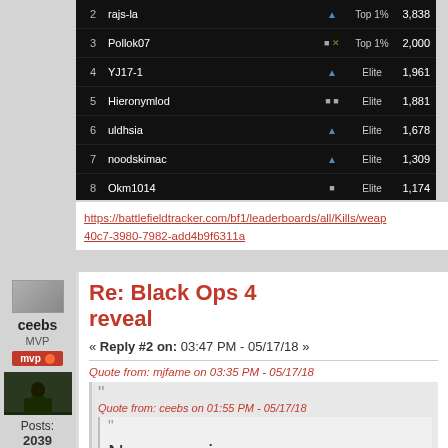[Figure (screenshot): Battlefield 1 leaderboard screenshot showing ranks 2-10 with player names, platforms, tiers, and kill counts]
https://battlefieldtracker.com/bf1/leaderboards/all/Kills/weap 40c7-3980-7982-add4b9f6311a
Re: Black Ops 4 reveal
« Reply #2 on: 03:47 PM - 05/17/18 »
Quote from: mjfame on 03:35 PM - 05/17/18
Quote from: ceebs on 01:55 PM - 05/17/18
No campaign.
Posts: 2039
ceebs
MVP